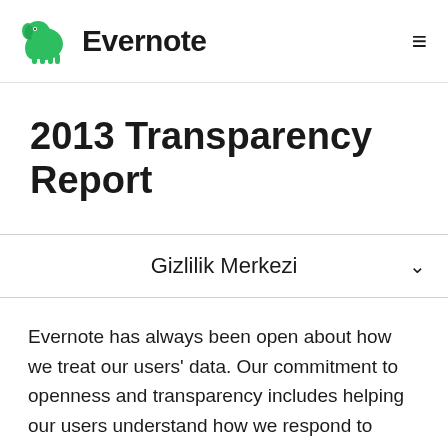[Figure (logo): Evernote logo: green elephant icon with the word 'Evernote' in bold black text beside it, and a hamburger menu icon on the right]
2013 Transparency Report
Gizlilik Merkezi
Evernote has always been open about how we treat our users' data. Our commitment to openness and transparency includes helping our users understand how we respond to third-party requests for account